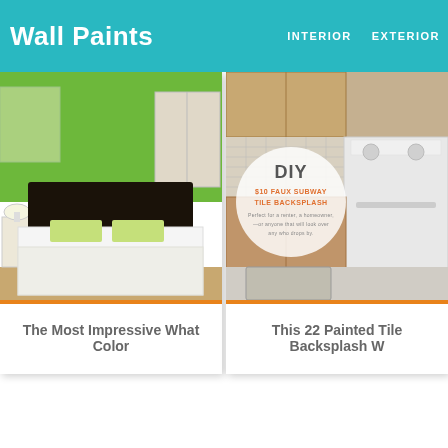Wall Paints  INTERIOR  EXTERIOR
[Figure (photo): Bedroom with green walls, white bed with green pillows, light wood floor, white wardrobe in background]
The Most Impressive What Color
[Figure (photo): Kitchen with DIY $10 Faux Subway Tile Backsplash overlay text, white stove, wood cabinets, gray rug on floor]
This 22 Painted Tile Backsplash W